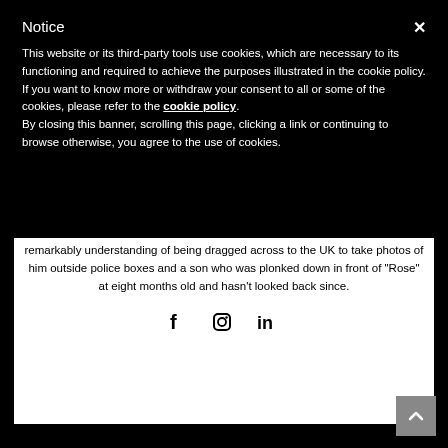Notice
This website or its third-party tools use cookies, which are necessary to its functioning and required to achieve the purposes illustrated in the cookie policy. If you want to know more or withdraw your consent to all or some of the cookies, please refer to the cookie policy.
By closing this banner, scrolling this page, clicking a link or continuing to browse otherwise, you agree to the use of cookies.
remarkably understanding of being dragged across to the UK to take photos of him outside police boxes and a son who was plonked down in front of "Rose" at eight months old and hasn't looked back since.
[Figure (other): Social media icons: Facebook (f), Instagram (circle icon), LinkedIn (in)]
[Figure (other): Back to top arrow button (grey square with upward chevron)]